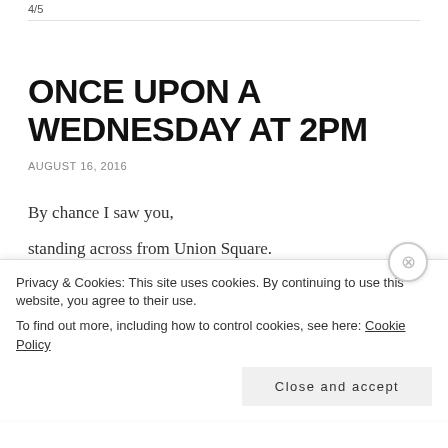4/5
ONCE UPON A WEDNESDAY AT 2PM
AUGUST 16, 2016
By chance I saw you,
standing across from Union Square.
I knew it was you from the nape of your neck.
Privacy & Cookies: This site uses cookies. By continuing to use this website, you agree to their use.
To find out more, including how to control cookies, see here: Cookie Policy
Close and accept